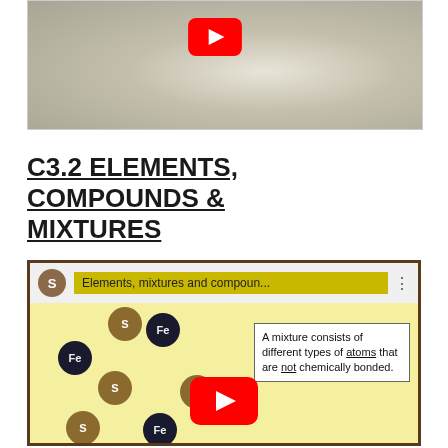[Figure (screenshot): YouTube video thumbnail showing a creamy white mixture, with a red YouTube play button in the upper area.]
C3.2 ELEMENTS, COMPOUNDS & MIXTURES
[Figure (screenshot): YouTube video thumbnail showing animated atoms labeled Fe and S on a yellow background with a text box reading 'A mixture consists of different types of atoms that are not chemically bonded.' A red YouTube play button overlays the center.]